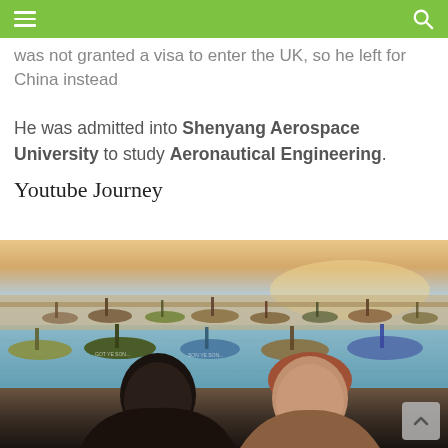was not granted a visa to enter the UK, so he left for China instead
He was admitted into Shenyang Aerospace University to study Aeronautical Engineering.
Youtube Journey
[Figure (photo): A harbor scene with many boats moored on calm water at dusk/sunset, with two people (a Black man and a lighter-skinned man with reddish hair) visible in the foreground from the shoulders up.]